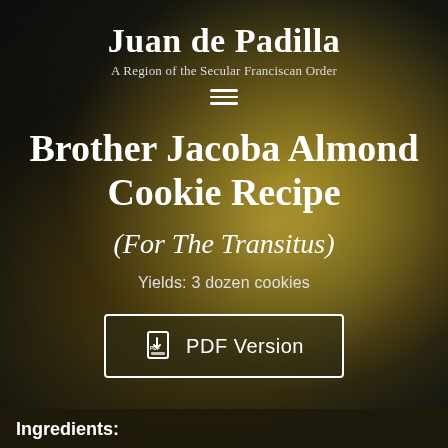Juan de Padilla
A Region of the Secular Franciscan Order
Brother Jacoba Almond Cookie Recipe
(For The Transitus)
Yields: 3 dozen cookies
PDF Version
Ingredients: